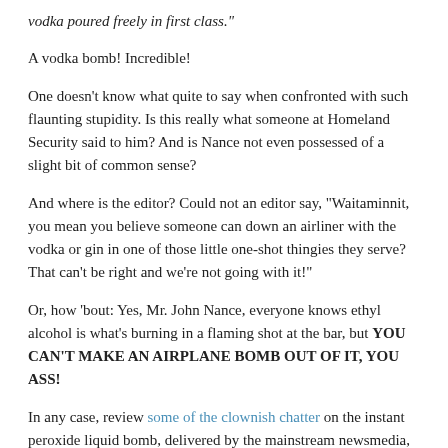vodka poured freely in first class."
A vodka bomb! Incredible!
One doesn't know what quite to say when confronted with such flaunting stupidity. Is this really what someone at Homeland Security said to him? And is Nance not even possessed of a slight bit of common sense?
And where is the editor? Could not an editor say, "Waitaminnit, you mean you believe someone can down an airliner with the vodka or gin in one of those little one-shot thingies they serve? That can't be right and we're not going with it!"
Or, how 'bout: Yes, Mr. John Nance, everyone knows ethyl alcohol is what's burning in a flaming shot at the bar, but YOU CAN'T MAKE AN AIRPLANE BOMB OUT OF IT, YOU ASS!
In any case, review some of the clownish chatter on the instant peroxide liquid bomb, delivered by the mainstream newsmedia, again.
". . . terrorists could simply carry aboard a plane the two chemicals used to make TATP. When the chemicals are mixed together, 'chances are it will